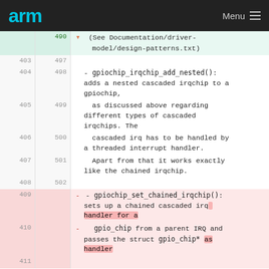arm  Menu
490  (See Documentation/driver-model/design-patterns.txt)
403 497
404 498  - gpiochip_irqchip_add_nested(): adds a nested cascaded irqchip to a gpiochip,
405 499    as discussed above regarding different types of cascaded irqchips. The
406 500    cascaded irq has to be handled by a threaded interrupt handler.
407 501    Apart from that it works exactly like the chained irqchip.
408 502
409     - - gpiochip_set_chained_irqchip(): sets up a chained cascaded irq handler for a
410     -   gpio_chip from a parent IRQ and passes the struct gpio_chip* as handler